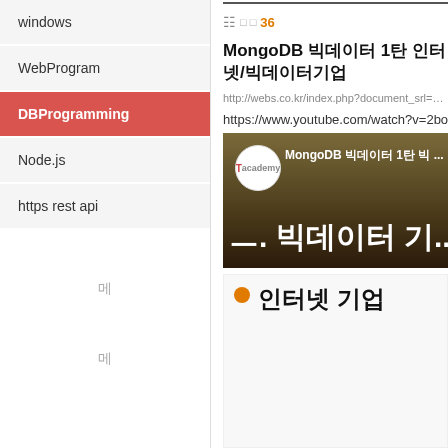windows
WebProgram
DBProgramming
Node.js
https rest api
36
MongoDB 빅데이터 1탄 인터넷/빅데이터기업
http://webs.co.kr/index.php?document_srl=33185...
https://www.youtube.com/watch?v=2booR...
[Figure (screenshot): YouTube video thumbnail for MongoDB 빅데이터 1탄 showing 빅데이터 기 text and Tacademy logo]
인터넷 기업
메
메
[Figure (screenshot): Diagram snippet showing a vertical line with labels Y and Z]